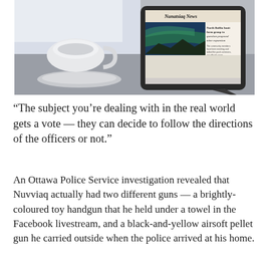[Figure (photo): A tablet displaying the Nunatsiaq News website propped up on a stand on a wooden table, next to a white coffee cup and saucer. The tablet shows a northern lights image and a headline about North Baffin Inuit forming a group to question proposed mine expansion.]
“The subject you’re dealing with in the real world gets a vote — they can decide to follow the directions of the officers or not.”
An Ottawa Police Service investigation revealed that Nuvviaq actually had two different guns — a brightly-coloured toy handgun that he held under a towel in the Facebook livestream, and a black-and-yellow airsoft pellet gun he carried outside when the police arrived at his home.